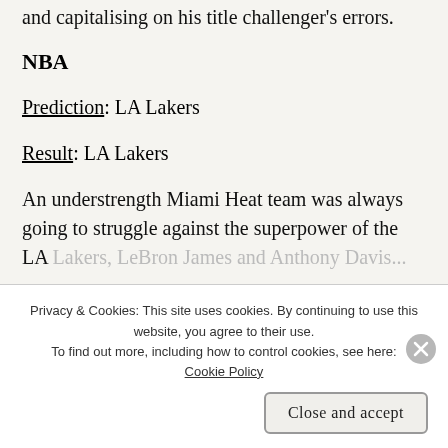and capitalising on his title challenger's errors.
NBA
Prediction: LA Lakers
Result: LA Lakers
An understrength Miami Heat team was always going to struggle against the superpower of the LA Lakers, LeBron James and Anthony Davis...
Privacy & Cookies: This site uses cookies. By continuing to use this website, you agree to their use.
To find out more, including how to control cookies, see here: Cookie Policy
Close and accept